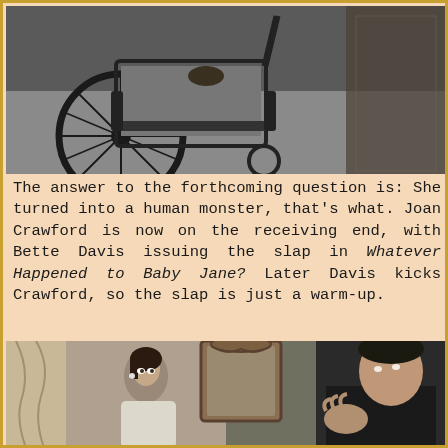[Figure (photo): Black and white still photograph showing a wheelchair on a floor, with a person partially visible standing nearby, from the film Whatever Happened to Baby Jane?]
The answer to the forthcoming question is: She turned into a human monster, that's what. Joan Crawford is now on the receiving end, with Bette Davis issuing the slap in Whatever Happened to Baby Jane? Later Davis kicks Crawford, so the slap is just a warm-up.
[Figure (photo): Black and white still photograph showing a woman in a light dress looking up at a man in dark clothing standing near an ornate mirror, from a classic film.]